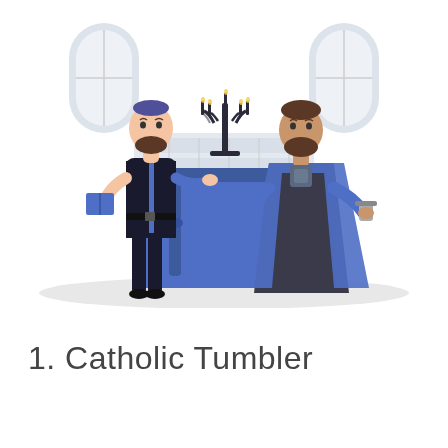[Figure (illustration): Flat-style illustration of two bearded men standing on either side of a blue-draped table. A menorah stands on the table. The man on the left wears a blue shirt, black vest, and kippah, and holds a book. The man on the right wears a blue cape over a dark robe and holds a cup. Arched windows are visible in the background. The scene sits on a light grey ground shadow.]
1. Catholic Tumbler